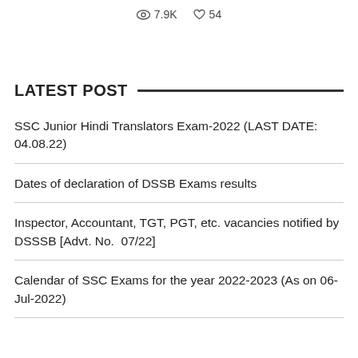7.9K   54
LATEST POST
SSC Junior Hindi Translators Exam-2022 (LAST DATE: 04.08.22)
Dates of declaration of DSSB Exams results
Inspector, Accountant, TGT, PGT, etc. vacancies notified by DSSSB [Advt. No.  07/22]
Calendar of SSC Exams for the year 2022-2023 (As on 06-Jul-2022)